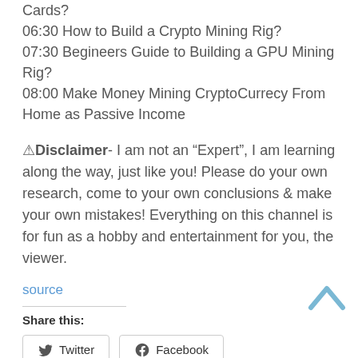Cards?
06:30 How to Build a Crypto Mining Rig?
07:30 Begineers Guide to Building a GPU Mining Rig?
08:00 Make Money Mining CryptoCurrecy From Home as Passive Income
⚠Disclaimer- I am not an “Expert”, I am learning along the way, just like you! Please do your own research, come to your own conclusions & make your own mistakes! Everything on this channel is for fun as a hobby and entertainment for you, the viewer.
source
Share this:
Twitter
Facebook
Like this: